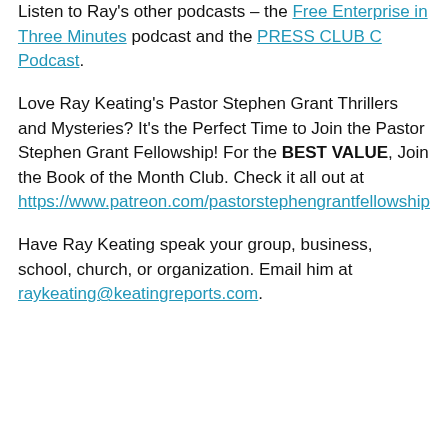Listen to Ray's other podcasts – the Free Enterprise in Three Minutes podcast and the PRESS CLUB C Podcast.
Love Ray Keating's Pastor Stephen Grant Thrillers and Mysteries? It's the Perfect Time to Join the Pastor Stephen Grant Fellowship! For the BEST VALUE, Join the Book of the Month Club. Check it all out at https://www.patreon.com/pastorstephengrantfellowship
Have Ray Keating speak your group, business, school, church, or organization. Email him at raykeating@keatingreports.com.